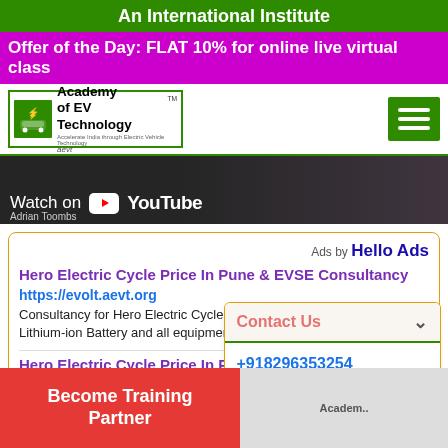An International Institute
Offer of the Day: FLAT 10% for online live virtual class
[Figure (logo): Academy of EV Technology (AEVT) logo with green border, car and charging icons]
[Figure (screenshot): YouTube video thumbnail - dark background with Watch on YouTube button and Adrian Toombs credit]
Ads by Hello Ads
Hero Electric Cycle Price In Pune & EVSE Consultancy
https://evolt.aevt.org
Consultancy for Hero Electric Cycle Price In Pune, EV charger, Lithium-ion Battery and all equipments manufacturing
Hero Electric Cycle Price In Pune
https://evsemart.com/
Buy Hero Electric Cycle Price In Pune - Buy EV c... Battery and all equipments from EVSEMart
Contact Us
+918296353254
+918479838828
11 AM to 6 PM
Become Training Partner